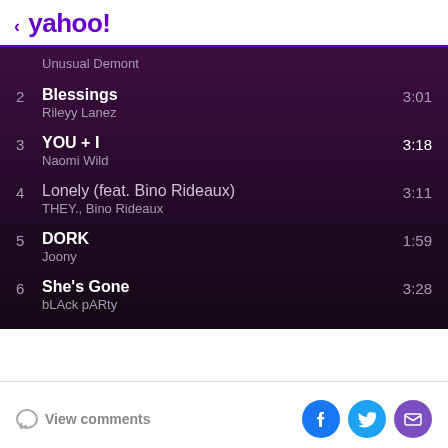< yahoo!
Unusual Demont
2  Blessings  3:01
Rileyy Lanez
3  YOU + I  3:18
Naomi Wild
4  Lonely (feat. Bino Rideaux)  3:11
THEY., Bino Rideaux
5  DORK  1:59
Joony
6  She's Gone  3:28
bLAck pARty
View comments